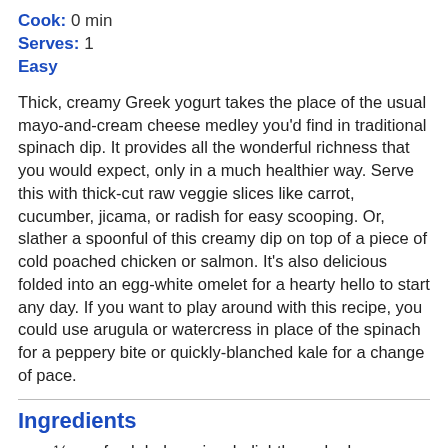Cook: 0 min
Serves: 1
Easy
Thick, creamy Greek yogurt takes the place of the usual mayo-and-cream cheese medley you'd find in traditional spinach dip. It provides all the wonderful richness that you would expect, only in a much healthier way. Serve this with thick-cut raw veggie slices like carrot, cucumber, jicama, or radish for easy scooping. Or, slather a spoonful of this creamy dip on top of a piece of cold poached chicken or salmon. It's also delicious folded into an egg-white omelet for a hearty hello to start any day. If you want to play around with this recipe, you could use arugula or watercress in place of the spinach for a peppery bite or quickly-blanched kale for a change of pace.
Ingredients
½ cup fresh baby spinach, lightly packed
¼ cup plain fat-free Greek yogurt
¼ cup basil, fresh, lightly packed